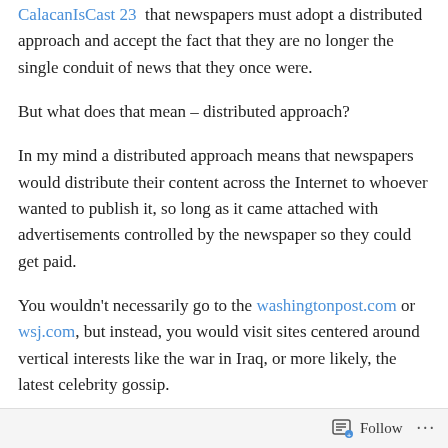CalacanIsCast 23 that newspapers must adopt a distributed approach and accept the fact that they are no longer the single conduit of news that they once were.
But what does that mean – distributed approach?
In my mind a distributed approach means that newspapers would distribute their content across the Internet to whoever wanted to publish it, so long as it came attached with advertisements controlled by the newspaper so they could get paid.
You wouldn't necessarily go to the washingtonpost.com or wsj.com, but instead, you would visit sites centered around vertical interests like the war in Iraq, or more likely, the latest celebrity gossip.
Follow ···